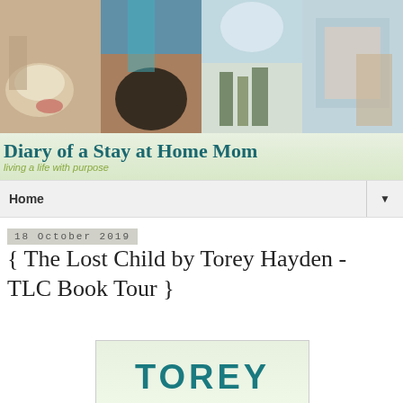[Figure (photo): Blog header banner with four photo collage tiles showing: tea cup with flowers, colorful blurred room with person, books and bottles on shelves, framed artwork. Below photos: blog title 'Diary of a Stay at Home Mom' with subtitle 'living a life with purpose' on green gradient background.]
Home ▼
18 October 2019
{ The Lost Child by Torey Hayden - TLC Book Tour }
[Figure (photo): Partial book cover showing 'TOREY' in large teal bold letters on a light greenish-white background, with a rectangular border.]